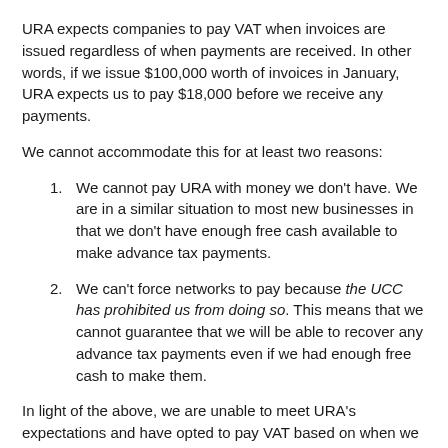URA expects companies to pay VAT when invoices are issued regardless of when payments are received. In other words, if we issue $100,000 worth of invoices in January, URA expects us to pay $18,000 before we receive any payments.
We cannot accommodate this for at least two reasons:
We cannot pay URA with money we don't have. We are in a similar situation to most new businesses in that we don't have enough free cash available to make advance tax payments.
We can't force networks to pay because the UCC has prohibited us from doing so. This means that we cannot guarantee that we will be able to recover any advance tax payments even if we had enough free cash to make them.
In light of the above, we are unable to meet URA's expectations and have opted to pay VAT based on when we receive payments instead. This unfortunately means that we must occasionally pay fines and perform additional administrative work when network